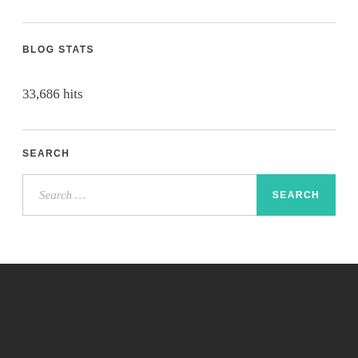BLOG STATS
33,686 hits
SEARCH
Search ...
BLOG AT WORDPRESS.COM.